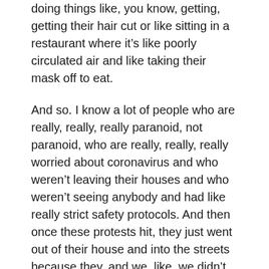doing things like, you know, getting, getting their hair cut or like sitting in a restaurant where it's like poorly circulated air and like taking their mask off to eat.
And so. I know a lot of people who are really, really, really paranoid, not paranoid, who are really, really, really worried about coronavirus and who weren't leaving their houses and who weren't seeing anybody and had like really strict safety protocols. And then once these protests hit, they just went out of their house and into the streets because they, and we, like, we didn't want to.
Get coronavirus because we needed a haircut.